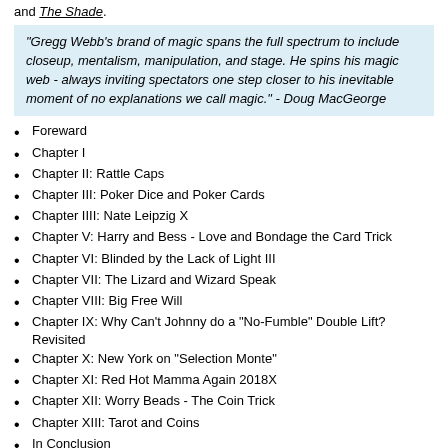and The Shade.
"Gregg Webb's brand of magic spans the full spectrum to include closeup, mentalism, manipulation, and stage. He spins his magic web - always inviting spectators one step closer to his inevitable moment of no explanations we call magic." - Doug MacGeorge
Foreward
Chapter I
Chapter II: Rattle Caps
Chapter III: Poker Dice and Poker Cards
Chapter IIII: Nate Leipzig X
Chapter V: Harry and Bess - Love and Bondage the Card Trick
Chapter VI: Blinded by the Lack of Light III
Chapter VII: The Lizard and Wizard Speak
Chapter VIII: Big Free Will
Chapter IX: Why Can't Johnny do a "No-Fumble" Double Lift? Revisited
Chapter X: New York on "Selection Monte"
Chapter XI: Red Hot Mamma Again 2018X
Chapter XII: Worry Beads - The Coin Trick
Chapter XIII: Tarot and Coins
In Conclusion
One of the unique features of this ebook is that it is beautifully hand-lettered.